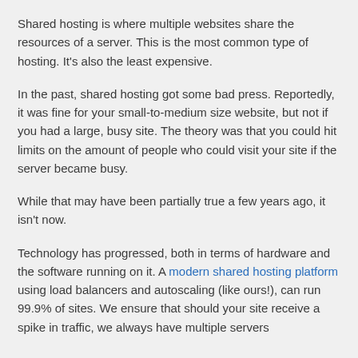Shared hosting is where multiple websites share the resources of a server. This is the most common type of hosting. It's also the least expensive.
In the past, shared hosting got some bad press. Reportedly, it was fine for your small-to-medium size website, but not if you had a large, busy site. The theory was that you could hit limits on the amount of people who could visit your site if the server became busy.
While that may have been partially true a few years ago, it isn't now.
Technology has progressed, both in terms of hardware and the software running on it. A modern shared hosting platform using load balancers and autoscaling (like ours!), can run 99.9% of sites. We ensure that should your site receive a spike in traffic, we always have multiple servers